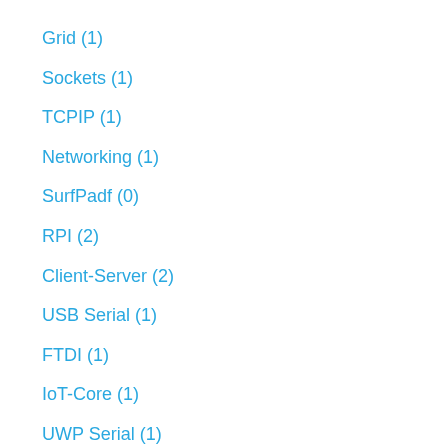Grid (1)
Sockets (1)
TCPIP (1)
Networking (1)
SurfPadf (0)
RPI (2)
Client-Server (2)
USB Serial (1)
FTDI (1)
IoT-Core (1)
UWP Serial (1)
Surf (1)
State Machine (1)
WiFi (1)
Bertha (1)